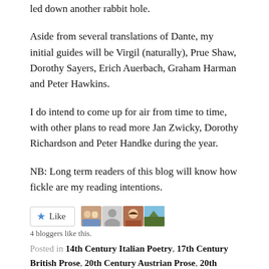led down another rabbit hole.
Aside from several translations of Dante, my initial guides will be Virgil (naturally), Prue Shaw, Dorothy Sayers, Erich Auerbach, Graham Harman and Peter Hawkins.
I do intend to come up for air from time to time, with other plans to read more Jan Zwicky, Dorothy Richardson and Peter Handke during the year.
NB: Long term readers of this blog will know how fickle are my reading intentions.
[Figure (other): Like button with star icon and 4 blogger avatar thumbnails]
4 bloggers like this.
Posted in 14th Century Italian Poetry, 17th Century British Prose, 20th Century Austrian Prose, 20th Century British Poetry, 20th Century British Prose, 20th Century Canadian Prose, 21st Century Canadian Prose, Ancient Roman Literature, Ancient Roman Poetry, Austrian Literature, British Literature